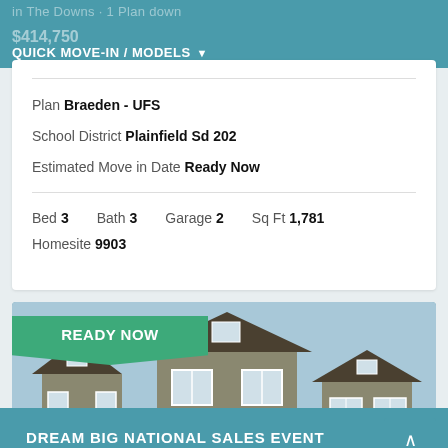QUICK MOVE-IN / MODELS
Plan Braeden - UFS
School District Plainfield Sd 202
Estimated Move in Date Ready Now
Bed 3   Bath 3   Garage 2   Sq Ft 1,781
Homesite 9903
[Figure (photo): Exterior photo of suburban craftsman-style homes with gray siding and white garage doors. Green badge overlay reading READY NOW. Teal banner overlay reading DREAM BIG NATIONAL SALES EVENT.]
READY NOW
DREAM BIG NATIONAL SALES EVENT
Contact Us